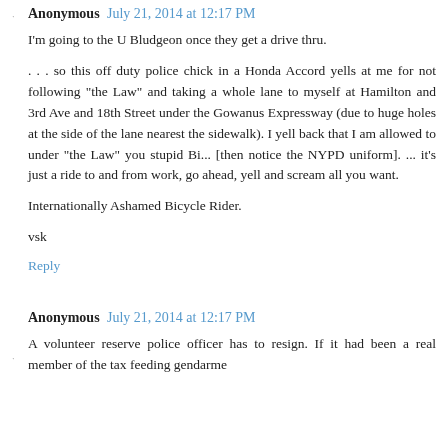Anonymous July 21, 2014 at 12:17 PM
I'm going to the U Bludgeon once they get a drive thru.
. . . so this off duty police chick in a Honda Accord yells at me for not following "the Law" and taking a whole lane to myself at Hamilton and 3rd Ave and 18th Street under the Gowanus Expressway (due to huge holes at the side of the lane nearest the sidewalk). I yell back that I am allowed to under "the Law" you stupid Bi... [then notice the NYPD uniform]. ... it's just a ride to and from work, go ahead, yell and scream all you want.
Internationally Ashamed Bicycle Rider.
vsk
Reply
Anonymous July 21, 2014 at 12:17 PM
A volunteer reserve police officer has to resign. If it had been a real member of the tax feeding gendarme...